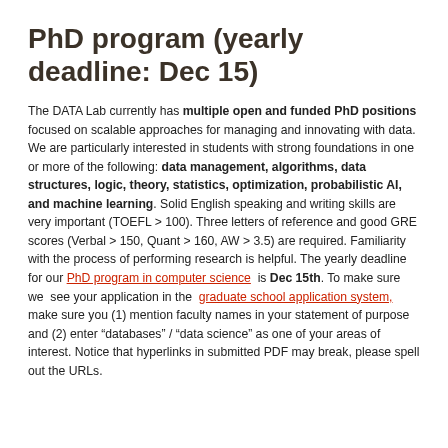PhD program (yearly deadline: Dec 15)
The DATA Lab currently has multiple open and funded PhD positions focused on scalable approaches for managing and innovating with data. We are particularly interested in students with strong foundations in one or more of the following: data management, algorithms, data structures, logic, theory, statistics, optimization, probabilistic AI, and machine learning. Solid English speaking and writing skills are very important (TOEFL > 100). Three letters of reference and good GRE scores (Verbal > 150, Quant > 160, AW > 3.5) are required. Familiarity with the process of performing research is helpful. The yearly deadline for our PhD program in computer science is Dec 15th. To make sure we see your application in the graduate school application system, make sure you (1) mention faculty names in your statement of purpose and (2) enter “databases” / “data science” as one of your areas of interest. Notice that hyperlinks in submitted PDF may break, please spell out the URLs.